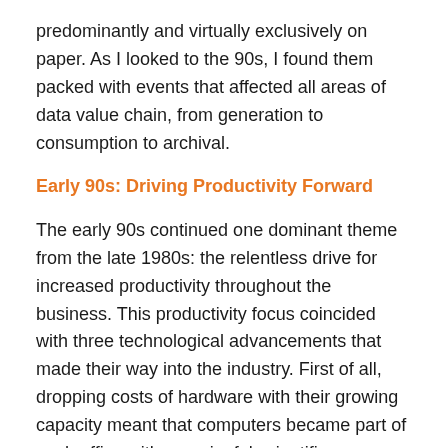predominantly and virtually exclusively on paper. As I looked to the 90s, I found them packed with events that affected all areas of data value chain, from generation to consumption to archival.
Early 90s: Driving Productivity Forward
The early 90s continued one dominant theme from the late 1980s: the relentless drive for increased productivity throughout the business. This productivity focus coincided with three technological advancements that made their way into the industry. First of all, dropping costs of hardware with their growing capacity meant that computers became part of each office with meaningful scientific programs on them. Second, the increased capabilities of “networks” and “server/client” opened up new possibilities by centralizing and sharing one source of